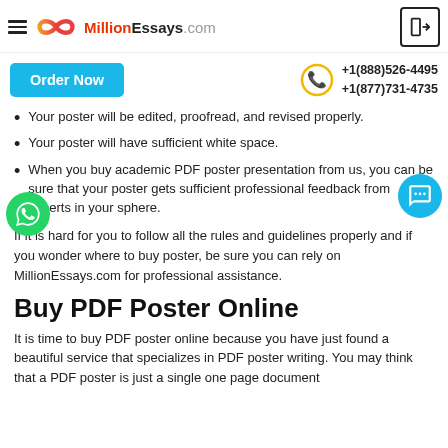MillionEssays.com — Order Now | +1(888)526-4495 | +1(877)731-4735
Your poster will be edited, proofread, and revised properly.
Your poster will have sufficient white space.
When you buy academic PDF poster presentation from us, you can be sure that your poster gets sufficient professional feedback from experts in your sphere.
If it is hard for you to follow all the rules and guidelines properly and if you wonder where to buy poster, be sure you can rely on MillionEssays.com for professional assistance.
Buy PDF Poster Online
It is time to buy PDF poster online because you have just found a beautiful service that specializes in PDF poster writing. You may think that a PDF poster is just a single one page document